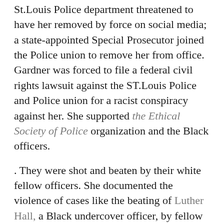St.Louis Police department threatened to have her removed by force on social media; a state-appointed Special Prosecutor joined the Police union to remove her from office. Gardner was forced to file a federal civil rights lawsuit against the ST.Louis Police and Police union for a racist conspiracy against her. She supported the Ethical Society of Police organization and the Black officers.
. They were shot and beaten by their white fellow officers. She documented the violence of cases like the beating of Luther Hall, a Black undercover officer, by fellow officers. On January 24, a 24-year-old woman, Police officer Katlyn Alix was killed while playing Russian roulette with Nathaniel Hendren, a fellow officer. The Police department claimed it was an accidental shooting. Still, Prosecutor Kim Gardner was blocked from receiving evidence and accused of abusing her position as Prosecutor. Prosecutor Kim Gardner was barred from receiving evidence and